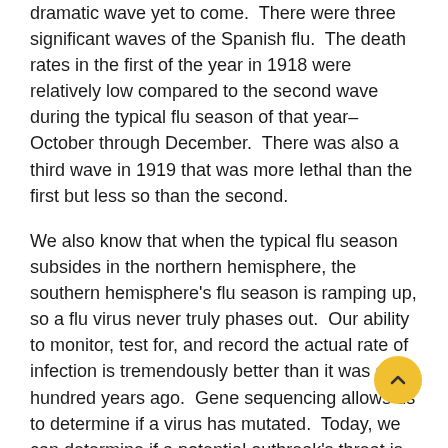dramatic wave yet to come.  There were three significant waves of the Spanish flu.  The death rates in the first of the year in 1918 were relatively low compared to the second wave during the typical flu season of that year–October through December.  There was also a third wave in 1919 that was more lethal than the first but less so than the second.
We also know that when the typical flu season subsides in the northern hemisphere, the southern hemisphere's flu season is ramping up, so a flu virus never truly phases out.  Our ability to monitor, test for, and record the actual rate of infection is tremendously better than it was a hundred years ago.  Gene sequencing allows us to determine if a virus has mutated.  Today, we can determine if a potential outbreak's threat is higher or lower at any given time.  ability to see the second and third waves of a virus allows us some small amount of time to prepare for it.